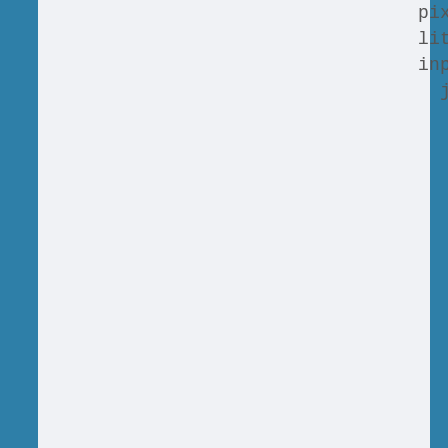pixelquality
input:
  juxtapose:
    [
      productls7_fc_albers
      measures
        [
        PV
        ]
      source_products
        l
        s